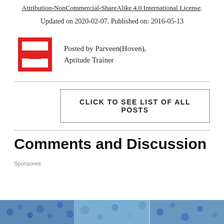Attribution-NonCommercial-ShareAlike 4.0 International License.
Updated on 2020-02-07. Published on: 2016-05-13
Posted by Parveen(Hoven), Aptitude Trainer
CLICK TO SEE LIST OF ALL POSTS
Comments and Discussion
Sponsored
[Figure (photo): Sponsored advertisement image at bottom of page showing science/biology themed blue-toned photo]